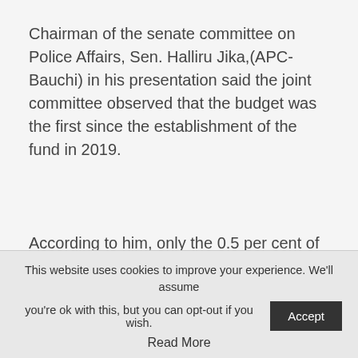Chairman of the senate committee on Police Affairs, Sen. Halliru Jika,(APC- Bauchi) in his presentation said the joint committee observed that the budget was the first since the establishment of the fund in 2019.
According to him, only the 0.5 per cent of the total revenue accruing to the federation account and 0.5 per cent of the total Value Added Tax (VAT) were remitted to the NPTF account.
He said other revenue sources prescribed in the NPTF act did not made remittance.
This website uses cookies to improve your experience. We'll assume you're ok with this, but you can opt-out if you wish. Accept Read More